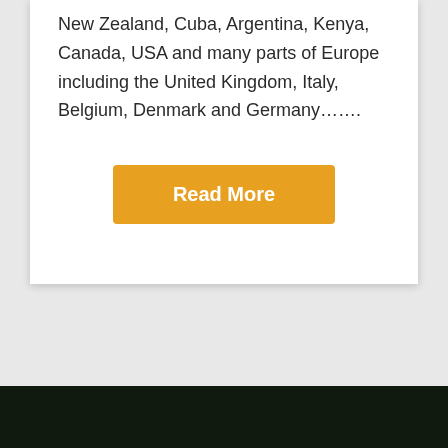New Zealand, Cuba, Argentina, Kenya, Canada, USA and many parts of Europe including the United Kingdom, Italy, Belgium, Denmark and Germany…….
Read More
[Figure (photo): Dark green/black background footer area at the bottom of the page]